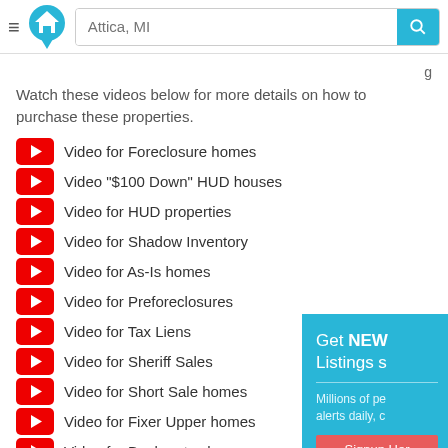[Figure (screenshot): Website header with hamburger menu, house logo, search bar with 'Attica, MI' placeholder, and blue search button]
Watch these videos below for more details on how to purchase these properties.
Video for Foreclosure homes
Video "$100 Down" HUD houses
Video for HUD properties
Video for Shadow Inventory
Video for As-Is homes
Video for Preforeclosures
Video for Tax Liens
Video for Sheriff Sales
Video for Short Sale homes
Video for Fixer Upper homes
Video for Bankruptcy homes
Video for City Owned homes
[Figure (screenshot): Popup sidebar: 'Get NEW Listings s...' with 'Millions of pe... alerts daily, c...' text, Signup Here button, and No Thanks link]